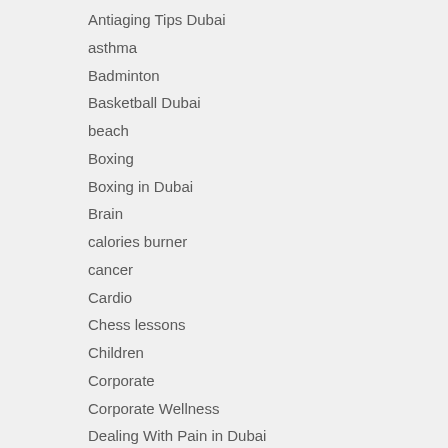Antiaging Tips Dubai
asthma
Badminton
Basketball Dubai
beach
Boxing
Boxing in Dubai
Brain
calories burner
cancer
Cardio
Chess lessons
Children
Corporate
Corporate Wellness
Dealing With Pain in Dubai
Detox your Body in Dubai
Diabetes
Diabetic
Diet plans in Dubai
Dog Training in Dubai
Dubai Personal Trainer Visa
Eating